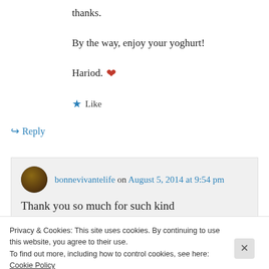thanks.
By the way, enjoy your yoghurt!
Hariod. ❤
★ Like
↪ Reply
bonnevivantelife on August 5, 2014 at 9:54 pm
Thank you so much for such kind
Privacy & Cookies: This site uses cookies. By continuing to use this website, you agree to their use. To find out more, including how to control cookies, see here: Cookie Policy
Close and accept